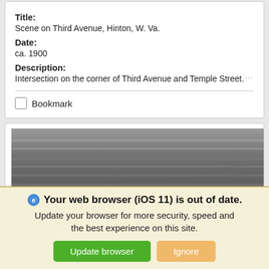Title:
Scene on Third Avenue, Hinton, W. Va.
Date:
ca. 1900
Description:
Intersection on the corner of Third Avenue and Temple Street.
Bookmark
[Figure (photo): Grayscale historical photograph showing a street scene, partially visible, appears to be a building or storefront from around 1900.]
Your web browser (iOS 11) is out of date. Update your browser for more security, speed and the best experience on this site.
Update browser
Ignore